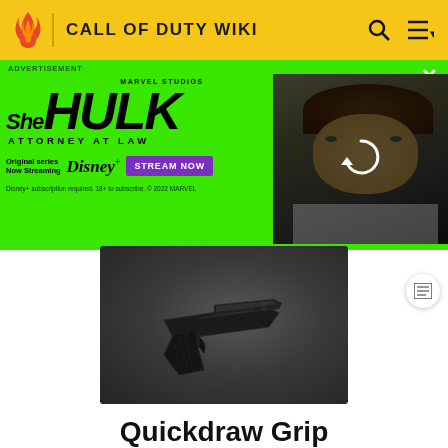CALL OF DUTY WIKI
[Figure (screenshot): She-Hulk: Attorney at Law advertisement banner on green background with Marvel Studios branding, Disney+ logo, Stream Now button, and an actress photo with reload icon]
[Figure (photo): Quickdraw Grip weapon attachment dark render on dark background]
Quickdraw Grip